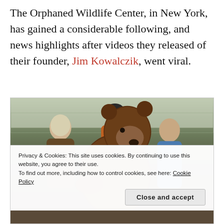The Orphaned Wildlife Center, in New York, has gained a considerable following, and news highlights after videos they released of their founder, Jim Kowalczik, went viral.
[Figure (photo): Photo of three people interacting with a large brown bear in an outdoor enclosure with chain-link fencing and a concrete block wall. A woman in a brown fleece coat is on the left, a man in an orange jacket and black beanie hat is in the center-back, and a woman in a blue vest is on the right. The bear is in the foreground facing right.]
Privacy & Cookies: This site uses cookies. By continuing to use this website, you agree to their use. To find out more, including how to control cookies, see here: Cookie Policy
Close and accept